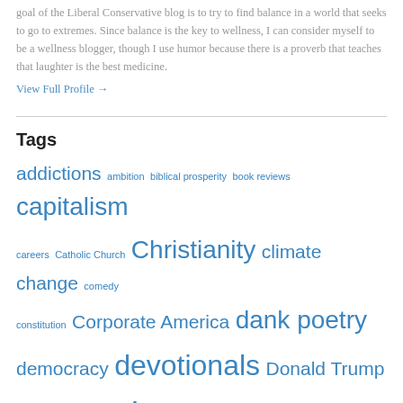goal of the Liberal Conservative blog is to try to find balance in a world that seeks to go to extremes. Since balance is the key to wellness, I can consider myself to be a wellness blogger, though I use humor because there is a proverb that teaches that laughter is the best medicine.
View Full Profile →
Tags
addictions
ambition
biblical prosperity
book reviews
capitalism
careers
Catholic Church
Christianity
climate change
comedy
constitution
Corporate America
dank poetry
democracy
devotionals
Donald Trump
economics
education
enlightenment
entertainment